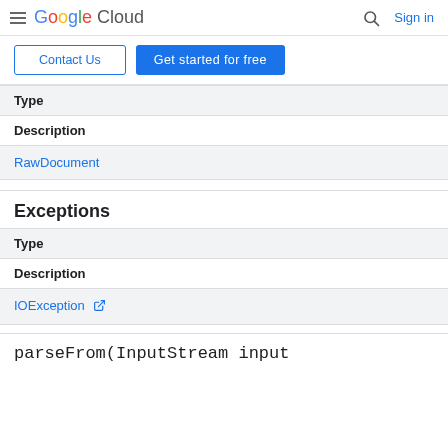Google Cloud  Sign in
Contact Us  Get started for free
| Type | Description |
| --- | --- |
| RawDocument |  |
Exceptions
| Type | Description |
| --- | --- |
| IOException |  |
parseFrom(InputStream input